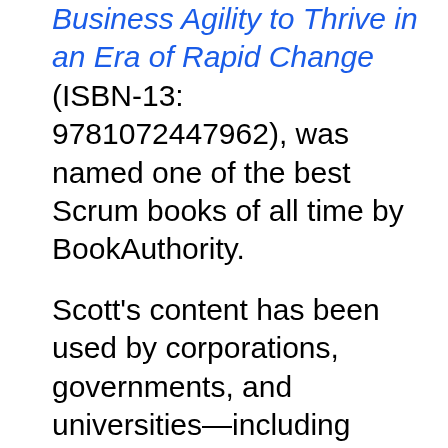Business Agility to Thrive in an Era of Rapid Change (ISBN-13: 9781072447962), was named one of the best Scrum books of all time by BookAuthority.
Scott's content has been used by corporations, governments, and universities—including Cisco, RSA, Ford, LITE-ON Technology Corporation, Liberty Mutual Group, the New Zealand Ministry of Education, Tufts University, James Madison University, Santa Clara University, Brigham Young University, Texas A&M University, The Open University, Asia Pacific University of Technology and Innovation, and others.
Scott is a former vice president of project management with a publicly traded provider of diverse consumer products and services over the Internet. Before that, he ran and